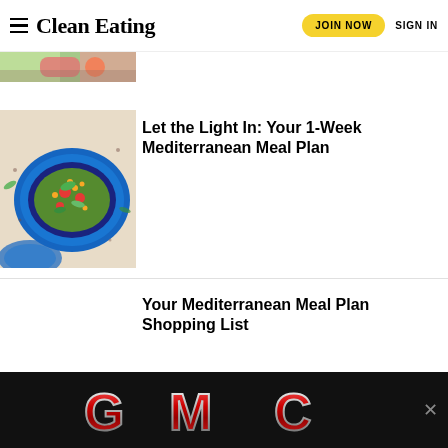Clean Eating — JOIN NOW  SIGN IN
[Figure (photo): Cropped food image strip at top left]
[Figure (photo): Mediterranean salad bowl with chickpeas, tomatoes, greens on blue plate]
Let the Light In: Your 1-Week Mediterranean Meal Plan
Your Mediterranean Meal Plan Shopping List
[Figure (logo): GMC logo advertisement banner on black background]